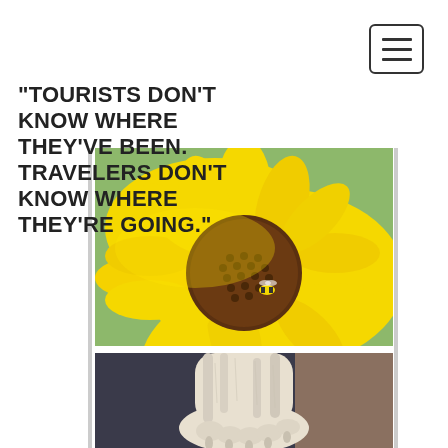Navigation menu button (hamburger icon)
"TOURISTS DON'T KNOW WHERE THEY'VE BEEN. TRAVELERS DON'T KNOW WHERE THEY'RE GOING."
[Figure (photo): Close-up photograph of a bright yellow sunflower with a brown center seed head, showing a bee near the center. Green leaves visible in background.]
[Figure (photo): Close-up photograph of a white dog's paw resting on a dark surface (possibly denim or dark fabric), with a brown surface in the background.]